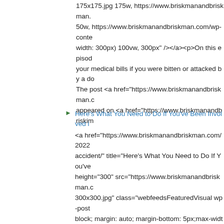175x175.jpg 175w, https://www.briskmanandbriskman. 50w, https://www.briskmanandbriskman.com/wp-conte width: 300px) 100vw, 300px" /></a><p>On this episod your medical bills if you were bitten or attacked by a do The post <a href="https://www.briskmanandbriskman.c appeared on <a href="https://www.briskmanandbriskim
Here's What You Need to Do If You've Been Involved i <a href="https://www.briskmanandbriskman.com/2022 accident/" title="Here's What You Need to Do If You've height="300" src="https://www.briskmanandbriskman.c 300x300.jpg" class="webfeedsFeaturedVisual wp-post block; margin: auto; margin-bottom: 5px;max-width: 10 content/uploads/2019/08/Briskman_Podcast_Cover_F content/uploads/2019/08/Briskman_Podcast_Cover_F content/uploads/2019/08/Briskman_Podcast_Cover_F content/uploads/2019/08/Briskman_Podcast_Cover_F content/uploads/2019/08/Briskman_Podcast_Cover_F content/uploads/2019/08/Briskman_Podcast_Cover_F content/uploads/2019/08/Briskman_Podcast_Cover_F content/uploads/2019/08/Briskman_Podcast_Cover_F content/uploads/2019/08/Briskman_Podcast_Cover_F content/uploads/2019/08/Briskman_Podcast_Cover_F content/uploads/2019/08/Briskman_Podcast_Cover_F